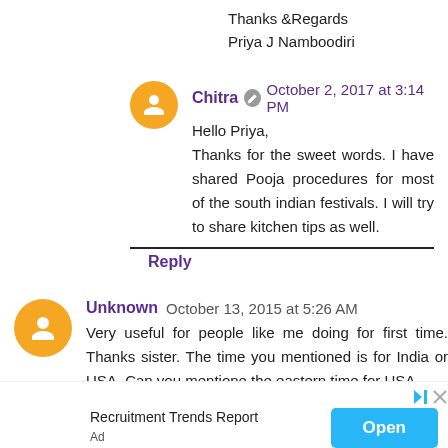Thanks &Regards
Priya J Namboodiri
Chitra  October 2, 2017 at 3:14 PM
Hello Priya,
Thanks for the sweet words. I have shared Pooja procedures for most of the south indian festivals. I will try to share kitchen tips as well.
Reply
Unknown  October 13, 2015 at 5:26 AM
Very useful for people like me doing for first time. Thanks sister. The time you mentioned is for India or USA. Can you mentione the eastern time for USA.
Thanks
Recruitment Trends Report
Open
Ad